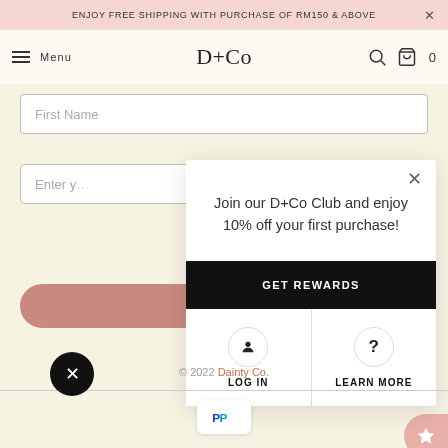ENJOY FREE SHIPPING WITH PURCHASE OF RM150 & ABOVE
[Figure (screenshot): D+Co website navigation bar with hamburger menu, D+Co logo, search and cart icons]
[Figure (screenshot): Website background showing First Name input field and another input field, plus a salmon-colored submit button]
[Figure (screenshot): Modal popup: 'Join our D+Co Club and enjoy 10% off your first purchase!' with GET REWARDS button, LOG IN and LEARN MORE options]
© 2022 Dainty Co.